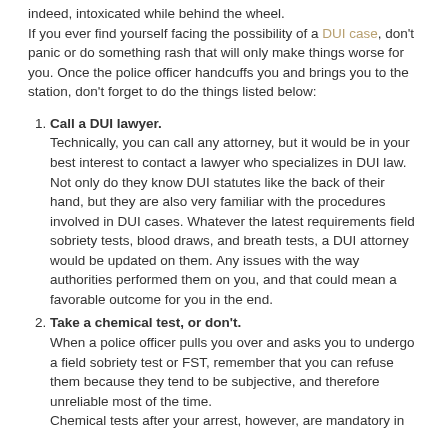indeed, intoxicated while behind the wheel.
If you ever find yourself facing the possibility of a DUI case, don't panic or do something rash that will only make things worse for you. Once the police officer handcuffs you and brings you to the station, don't forget to do the things listed below:
1. Call a DUI lawyer.
Technically, you can call any attorney, but it would be in your best interest to contact a lawyer who specializes in DUI law. Not only do they know DUI statutes like the back of their hand, but they are also very familiar with the procedures involved in DUI cases. Whatever the latest requirements field sobriety tests, blood draws, and breath tests, a DUI attorney would be updated on them. Any issues with the way authorities performed them on you, and that could mean a favorable outcome for you in the end.
2. Take a chemical test, or don't.
When a police officer pulls you over and asks you to undergo a field sobriety test or FST, remember that you can refuse them because they tend to be subjective, and therefore unreliable most of the time.
Chemical tests after your arrest, however, are mandatory in